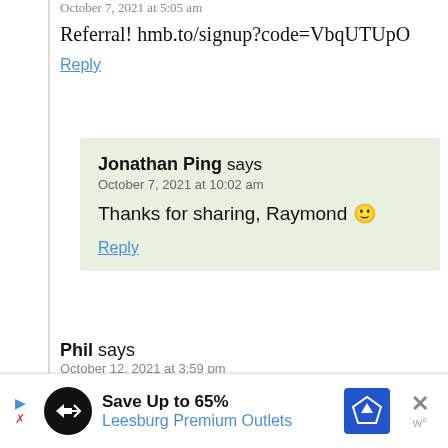October 7, 2021 at 5:05 am
Referral! hmb.to/signup?code=VbqUTUpO
Reply
Jonathan Ping says
October 7, 2021 at 10:02 am
Thanks for sharing, Raymond 🙂
Reply
Phil says
October 12, 2021 at 3:59 pm
Any referrals available? All of the above are no
[Figure (infographic): Advertisement banner: Save Up to 65% Leesburg Premium Outlets with logo icons]